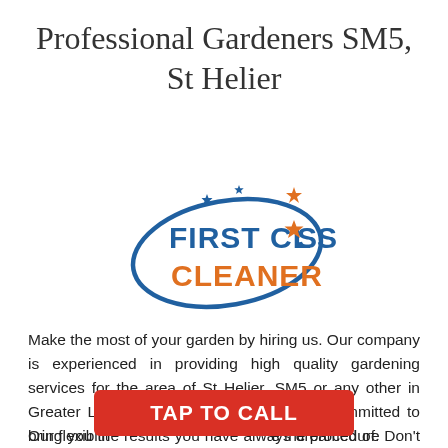Professional Gardeners SM5, St Helier
[Figure (logo): First Class Cleaner logo with blue oval swoosh, orange star sparkles, blue bold text 'FIRST CLASS' and orange bold text 'CLEANER']
Make the most of your garden by hiring us. Our company is experienced in providing high quality gardening services for the area of St Helier, SM5 or any other in Greater London. Our employees are fully committed to bring you the results you have always dreamed of. Don't hesitate anymore, grab the phone and get in touch with our call centre supporters.
Our flexibility enables us to schedule the procedure